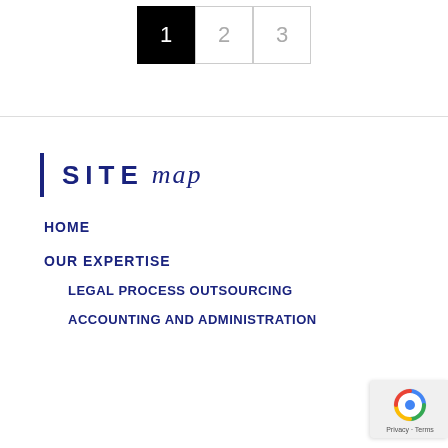1  2  3
SITE map
HOME
OUR EXPERTISE
LEGAL PROCESS OUTSOURCING
ACCOUNTING AND ADMINISTRATION